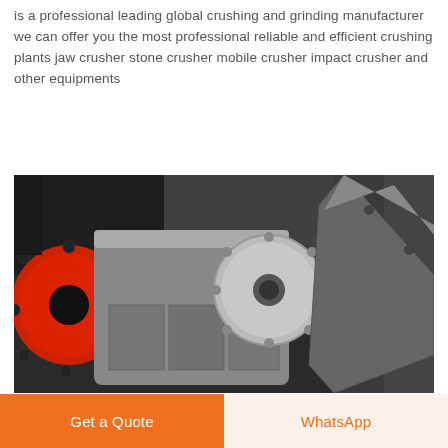is a professional leading global crushing and grinding manufacturer we can offer you the most professional reliable and efficient crushing plants jaw crusher stone crusher mobile crusher impact crusher and other equipments
Get Price
[Figure (photo): Close-up photograph of industrial crusher machinery showing a red flywheel/disc with bolts on the left, a large cylindrical rotor/drum in the center, and a metal impact plate on the right, all inside a dark metal housing]
Get a Quote
WhatsApp